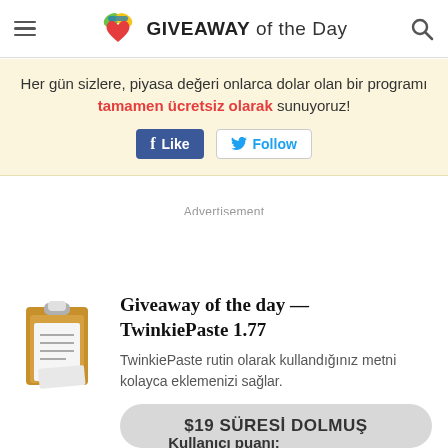GIVEAWAY of the Day
Her gün sizlere, piyasa değeri onlarca dolar olan bir programı tamamen ücretsiz olarak sunuyoruz!
Advertisement
Giveaway of the day — TwinkiePaste 1.77
TwinkiePaste rutin olarak kullandığınız metni kolayca eklemenizi sağlar.
$19 SÜRESİ DOLMUŞ
Kullanıcı puanı: